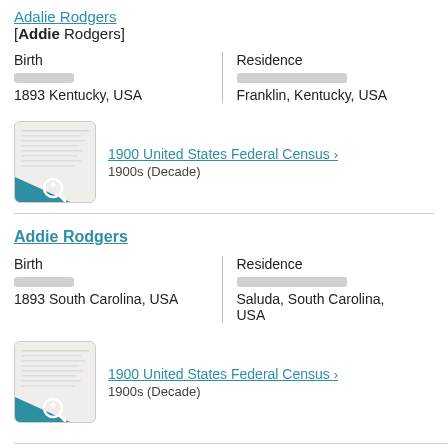Adalie Rodgers [Addie Rodgers]
Birth
1893 Kentucky, USA
Residence
Franklin, Kentucky, USA
1900 United States Federal Census › 1900s (Decade)
Addie Rodgers
Birth
1893 South Carolina, USA
Residence
Saluda, South Carolina, USA
1900 United States Federal Census › 1900s (Decade)